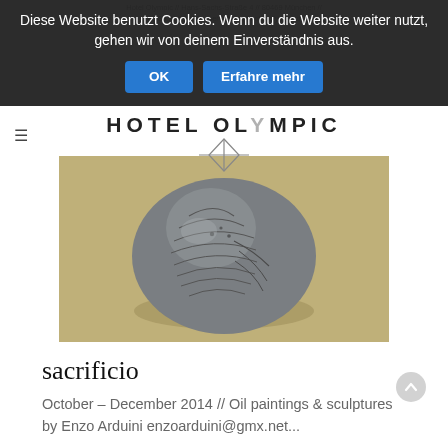Hotel Olympic // Hans-Sachs-Straße 4 // 80469 München // +49 89 21 89 0 // reservations@hotel-olympic.de
Diese Website benutzt Cookies. Wenn du die Website weiter nutzt, gehen wir von deinem Einverständnis aus.
HOTEL OLYMPIC
[Figure (photo): Photograph of a round stone sculpture with engraved linear patterns resembling feathers or scales, placed on a sandy surface. The sculpture appears to be a stylized animal or abstract form, carved in grey stone.]
sacrificio
October – December 2014 // Oil paintings & sculptures by Enzo Arduini enzoarduini@gmx.net...